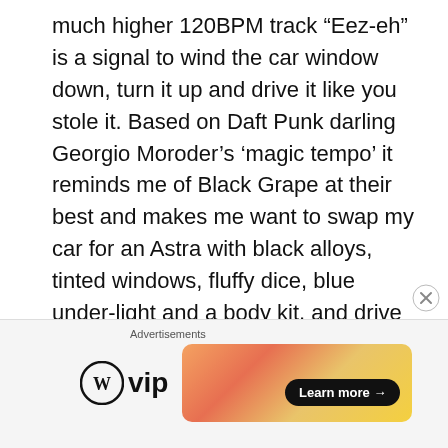much higher 120BPM track “Eez-eh” is a signal to wind the car window down, turn it up and drive it like you stole it. Based on Daft Punk darling Georgio Moroder’s ‘magic tempo’ it reminds me of Black Grape at their best and makes me want to swap my car for an Astra with black alloys, tinted windows, fluffy dice, blue under-light and a body kit, and drive around punching one hand in the air. Their performance of this track on ‘Later with Jools...’ was brilliant and summed up their approach to most of their big tunes – I think they know they’re not the world’s best
[Figure (other): Advertisement bar with WordPress VIP logo and a gradient banner with Learn more button]